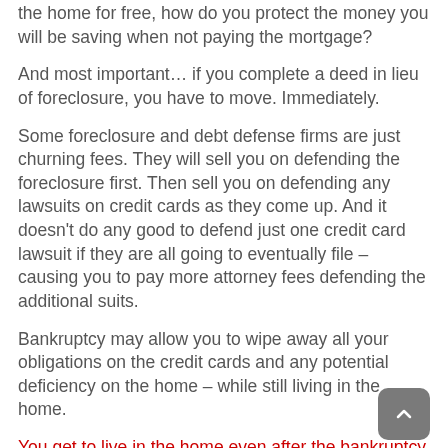the home for free, how do you protect the money you will be saving when not paying the mortgage?
And most important… if you complete a deed in lieu of foreclosure, you have to move. Immediately.
Some foreclosure and debt defense firms are just churning fees. They will sell you on defending the foreclosure first. Then sell you on defending any lawsuits on credit cards as they come up. And it doesn't do any good to defend just one credit card lawsuit if they are all going to eventually file – causing you to pay more attorney fees defending the additional suits.
Bankruptcy may allow you to wipe away all your obligations on the credit cards and any potential deficiency on the home – while still living in the home.
You get to live in the home even after the bankruptcy is filed. The lender still has to start and finish the foreclosure process (which we know